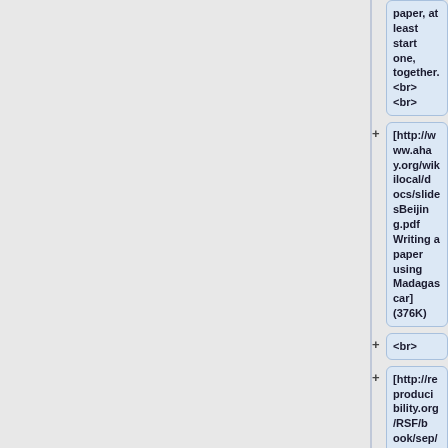paper, at least start one, together.<br><br>
[http://www.ahay.org/wikilocal/docs/slidesBeijing.pdf Writing a paper using Madagascar] (376K)
<br>
[http://reproducibility.org/RSF/book/sep/banana/paper_html/index.html Traveltime sensitivity kernels: Banana-